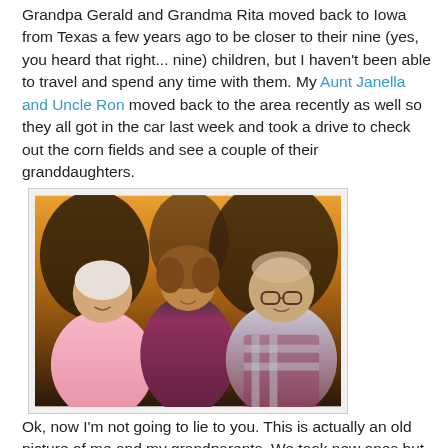Grandpa Gerald and Grandma Rita moved back to Iowa from Texas a few years ago to be closer to their nine (yes, you heard that right... nine) children, but I haven't been able to travel and spend any time with them. My Aunt Janella and Uncle Ron moved back to the area recently as well so they all got in the car last week and took a drive to check out the corn fields and see a couple of their granddaughters.
[Figure (photo): Photo of three people: an elderly woman on the left wearing pink, a younger woman with curly hair in the center, and an elderly man on the right wearing a plaid shirt, posed together outdoors at sunset.]
Ok, now I'm not going to lie to you. This is actually an old picture of me and my grandparents. We took new ones but this is my favorite photo of us so it's the one I'm sharing ... call it a perk of being in charge of the blog. :)